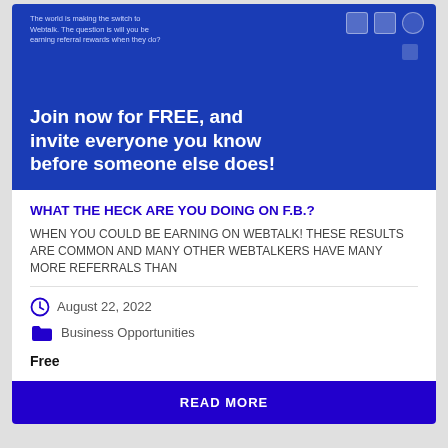[Figure (screenshot): Blue promotional banner for Webtalk with text 'Join now for FREE, and invite everyone you know before someone else does!']
WHAT THE HECK ARE YOU DOING ON F.B.?
WHEN YOU COULD BE EARNING ON WEBTALK! THESE RESULTS ARE COMMON AND MANY OTHER WEBTALKERS HAVE MANY MORE REFERRALS THAN
August 22, 2022
Business Opportunities
Free
READ MORE